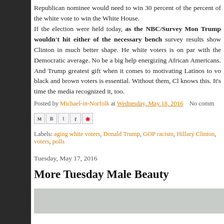Republican nominee would need to win 30 percent of the percent of the white vote to win the White House.
If the election were held today, as the NBC/Survey Mon Trump wouldn't hit either of the necessary bench survey results show Clinton in much better shape. He white voters is on par with the Democratic average. No be a big help energizing African Americans. And Trump greatest gift when it comes to motivating Latinos to vo black and brown voters is essential. Without them, Cl knows this. It's time the media recognized it, too.
Posted by Michael-in-Norfolk at Wednesday, May 18, 2016   No comm
[Figure (other): Social share buttons: Email, BlogThis, Twitter, Facebook, Pinterest]
Labels: aging white voters, Donald Trump, GOP racism, Hillary Clinton, voters, polls
Tuesday, May 17, 2016
More Tuesday Male Beauty
[Figure (photo): Photo thumbnail, partially visible at bottom of page]